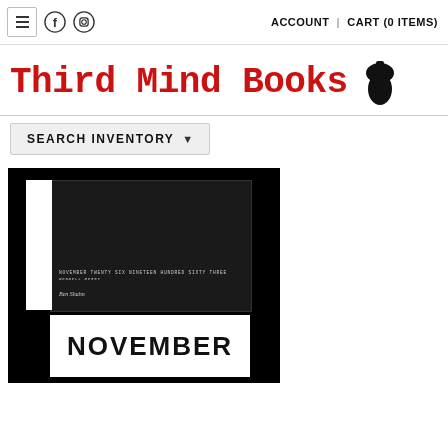≡  [Facebook] [Instagram]   ACCOUNT | CART (0 ITEMS)
Third Mind Books 🍂
SEARCH INVENTORY ▾
[Figure (photo): A dark cloth-covered book with white text on its cover reading 'NOVEMBER TWENTY SIX NINETEEN HUNDRED SIXTY THREE' and a signature below it, with a white slip-case partially showing. Below the book is a partially visible white label reading 'NOVEMBER'.]